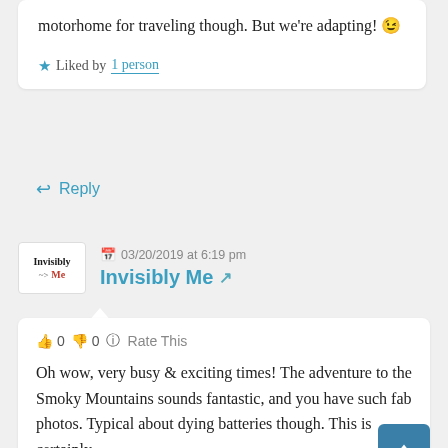motorhome for traveling though. But we're adapting! 😉
★ Liked by 1 person
↩ Reply
📅 03/20/2019 at 6:19 pm
Invisibly Me 🔗
👍 0 👎 0 ℹ Rate This
Oh wow, very busy & exciting times! The adventure to the Smoky Mountains sounds fantastic, and you have such fab photos. Typical about dying batteries though. This is certainly